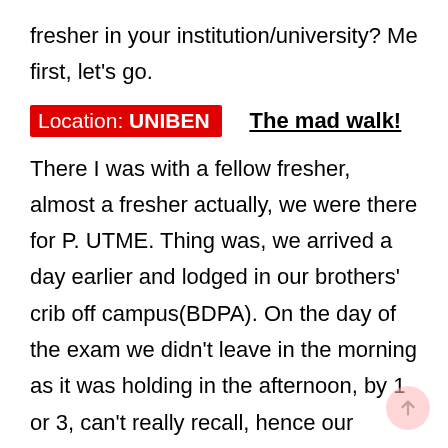fresher in your institution/university? Me first, let's go.
Location: UNIBEN    The mad walk!
There I was with a fellow fresher, almost a fresher actually, we were there for P. UTME. Thing was, we arrived a day earlier and lodged in our brothers' crib off campus(BDPA). On the day of the exam we didn't leave in the morning as it was holding in the afternoon, by 1 or 3, can't really recall, hence our brothers had left earlier, when we set out for school, we first o trekked to the expressway from a street that was quite deep in. Now here's where it got messy, when we got to the express, in front of 21st street junction, we got confused, unsure of the way